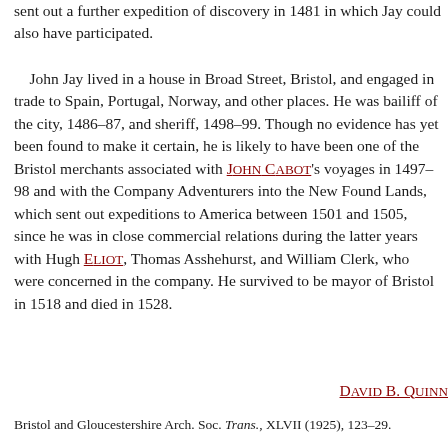sent out a further expedition of discovery in 1481 in which Jay could also have participated.
John Jay lived in a house in Broad Street, Bristol, and engaged in trade to Spain, Portugal, Norway, and other places. He was bailiff of the city, 1486–87, and sheriff, 1498–99. Though no evidence has yet been found to make it certain, he is likely to have been one of the Bristol merchants associated with John Cabot's voyages in 1497–98 and with the Company Adventurers into the New Found Lands, which sent out expeditions to America between 1501 and 1505, since he was in close commercial relations during the latter years with Hugh Eliot, Thomas Asshehurst, and William Clerk, who were concerned in the company. He survived to be mayor of Bristol in 1518 and died in 1528.
David B. Quinn
Bristol and Gloucestershire Arch. Soc. Trans., XLVII (1925), 123–29.